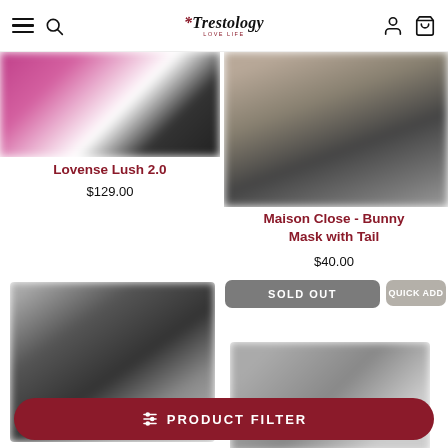Trestology — navigation header with hamburger menu, search, logo, account and cart icons
[Figure (photo): Blurred product image for Lovense Lush 2.0 — pink and black product photo]
Lovense Lush 2.0
$129.00
[Figure (photo): Blurred product image for Maison Close Bunny Mask with Tail — person in black outfit]
Maison Close - Bunny Mask with Tail
$40.00
[Figure (photo): Blurred bottom-left product image — person in black lingerie with accessories]
SOLD OUT
[Figure (photo): Blurred bottom-right product image — gray accessory item]
PRODUCT FILTER